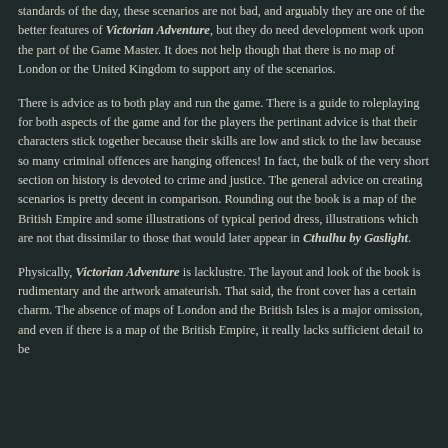standards of the day, these scenarios are not bad, and arguably they are one of the better features of Victorian Adventure, but they do need development work upon the part of the Game Master. It does not help though that there is no map of London or the United Kingdom to support any of the scenarios.
There is advice as to both play and run the game. There is a guide to roleplaying for both aspects of the game and for the players the pertinant advice is that their characters stick together because their skills are low and stick to the law because so many criminal offences are hanging offences! In fact, the bulk of the very short section on history is devoted to crime and justice. The general advice on creating scenarios is pretty decent in comparison. Rounding out the book is a map of the British Empire and some illustrations of typical period dress, illustrations which are not that dissimilar to those that would later appear in Cthulhu by Gaslight.
Physically, Victorian Adventure is lacklustre. The layout and look of the book is rudimentary and the artwork amateurish. That said, the front cover has a certain charm. The absence of maps of London and the British Isles is a major omission, and even if there is a map of the British Empire, it really lacks sufficient detail to be